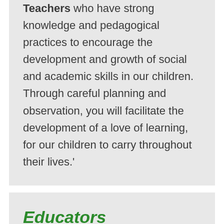...are looking for Early Childhood Teachers who have strong knowledge and pedagogical practices to encourage the development and growth of social and academic skills in our children. Through careful planning and observation, you will facilitate the development of a love of learning, for our children to carry throughout their lives.'
Educators
As a QCCS Educator you will have a genuine passion for working with children in the early years. You will build strong relationships with